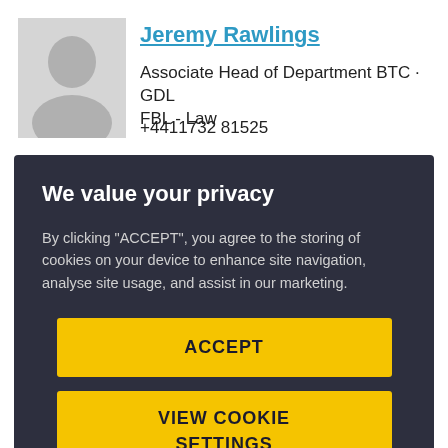[Figure (photo): Greyed out silhouette avatar placeholder image for a person profile]
Jeremy Rawlings
Associate Head of Department BTC · GDL FBL - Law
+4411732 81525
We value your privacy
By clicking "ACCEPT", you agree to the storing of cookies on your device to enhance site navigation, analyse site usage, and assist in our marketing.
ACCEPT
VIEW COOKIE SETTINGS
Intelligence